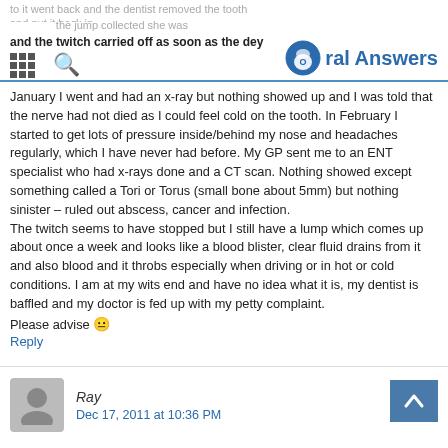Oral Answers
January I went and had an x-ray but nothing showed up and I was told that the nerve had not died as I could feel cold on the tooth. In February I started to get lots of pressure inside/behind my nose and headaches regularly, which I have never had before. My GP sent me to an ENT specialist who had x-rays done and a CT scan. Nothing showed except something called a Tori or Torus (small bone about 5mm) but nothing sinister – ruled out abscess, cancer and infection. The twitch seems to have stopped but I still have a lump which comes up about once a week and looks like a blood blister, clear fluid drains from it and also blood and it throbs especially when driving or in hot or cold conditions. I am at my wits end and have no idea what it is, my dentist is baffled and my doctor is fed up with my petty complaint. Please advise 🙂
Reply
Ray
Dec 17, 2011 at 10:36 PM